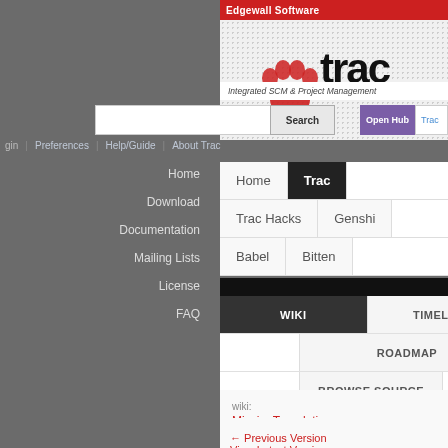[Figure (screenshot): Trac project management web application screenshot showing navigation, logo, search bar, and wiki page breadcrumb for MissingTranslations]
Edgewall Software
Integrated SCM & Project Management
Search
Open Hub  Trac
Log in | Preferences | Help/Guide | About Trac
Home  Trac
Trac Hacks  Genshi
Babel  Bitten
WIKI  TIMELINE
ROADMAP
BROWSE SOURCE
VIEW TICKETS
NEW TICKET
SEARCH
Home
Download
Documentation
Mailing Lists
License
FAQ
wiki: MissingTranslations
+0
← Previous Version
View Latest Version